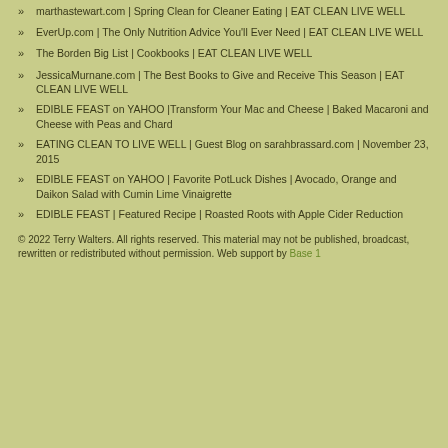marthastewart.com | Spring Clean for Cleaner Eating | EAT CLEAN LIVE WELL
EverUp.com | The Only Nutrition Advice You'll Ever Need | EAT CLEAN LIVE WELL
The Borden Big List | Cookbooks | EAT CLEAN LIVE WELL
JessicaMurnane.com | The Best Books to Give and Receive This Season | EAT CLEAN LIVE WELL
EDIBLE FEAST on YAHOO |Transform Your Mac and Cheese | Baked Macaroni and Cheese with Peas and Chard
EATING CLEAN TO LIVE WELL | Guest Blog on sarahbrassard.com | November 23, 2015
EDIBLE FEAST on YAHOO | Favorite PotLuck Dishes | Avocado, Orange and Daikon Salad with Cumin Lime Vinaigrette
EDIBLE FEAST | Featured Recipe | Roasted Roots with Apple Cider Reduction
© 2022 Terry Walters. All rights reserved. This material may not be published, broadcast, rewritten or redistributed without permission. Web support by Base 1